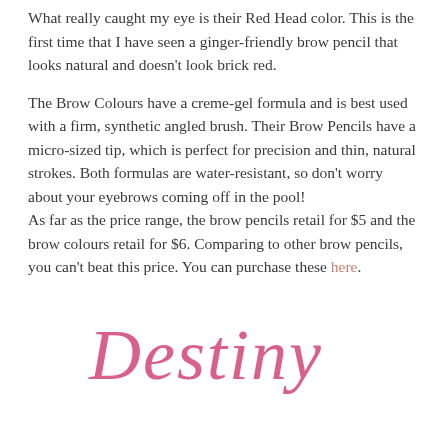What really caught my eye is their Red Head color. This is the first time that I have seen a ginger-friendly brow pencil that looks natural and doesn't look brick red.
The Brow Colours have a creme-gel formula and is best used with a firm, synthetic angled brush. Their Brow Pencils have a micro-sized tip, which is perfect for precision and thin, natural strokes. Both formulas are water-resistant, so don't worry about your eyebrows coming off in the pool!
As far as the price range, the brow pencils retail for $5 and the brow colours retail for $6. Comparing to other brow pencils, you can't beat this price. You can purchase these here.
[Figure (illustration): Handwritten cursive signature reading 'Destiny' in pink/rose color, centered on the page]